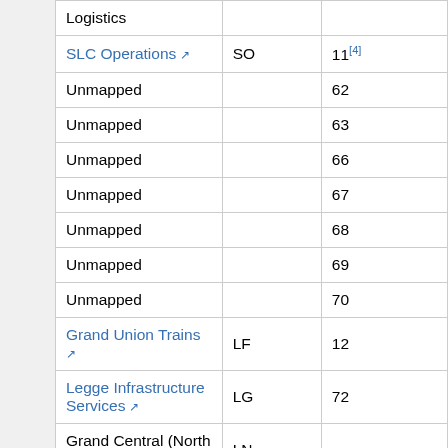|  |  |  |
| --- | --- | --- |
| Logistics |  |  |
| SLC Operations | SO | 11[4] |
| Unmapped |  | 62 |
| Unmapped |  | 63 |
| Unmapped |  | 66 |
| Unmapped |  | 67 |
| Unmapped |  | 68 |
| Unmapped |  | 69 |
| Unmapped |  | 70 |
| Grand Union Trains | LF | 12 |
| Legge Infrastructure Services | LG | 72 |
| Grand Central (North West) | LN |  |